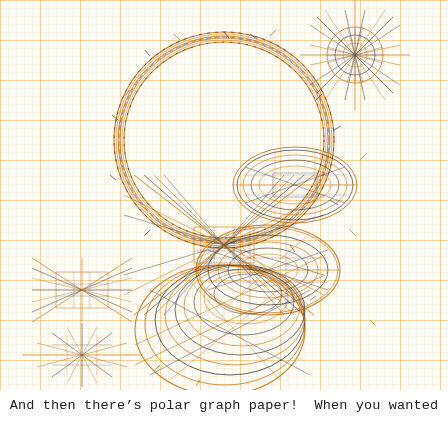[Figure (illustration): A complex hand-drawn style illustration on orange grid/graph paper background showing overlapping geometric curves — circles, ellipses, and star/diamond shapes rendered with many overlapping lines in orange and dark/black ink, creating intricate spirograph-like patterns. The orange grid lines form a regular small-square grid across the entire page area.]
And then there’s polar graph paper!  When you wanted